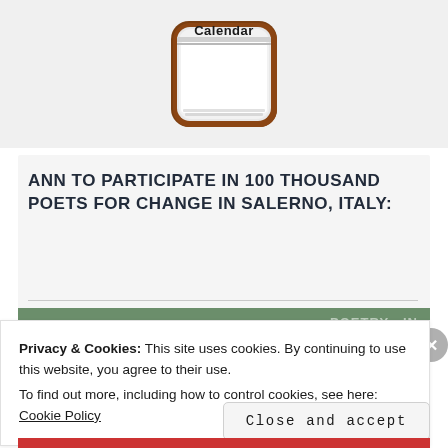[Figure (illustration): Calendar app icon with brown wooden frame and silver/white face, showing the word 'Calendar' in bold black text at the top]
ANN TO PARTICIPATE IN 100 THOUSAND POETS FOR CHANGE IN SALERNO, ITALY:
[Figure (illustration): Partial green banner strip with text 'POETRY IN' visible on the right side]
Privacy & Cookies: This site uses cookies. By continuing to use this website, you agree to their use.
To find out more, including how to control cookies, see here: Cookie Policy
Close and accept